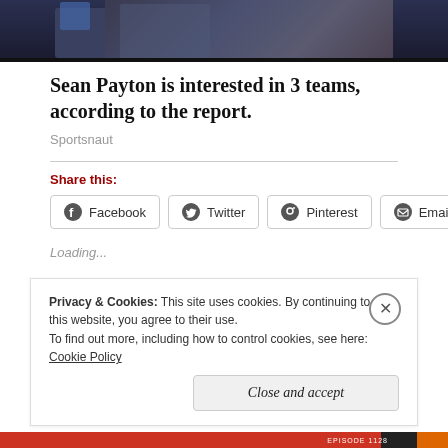[Figure (photo): Top portion of an image showing people in a studio or broadcast setting with dark background]
Sean Payton is interested in 3 teams, according to the report.
Sportsnaut
Share this:
Facebook  Twitter  Pinterest  Email
Loading...
Privacy & Cookies: This site uses cookies. By continuing to use this website, you agree to their use. To find out more, including how to control cookies, see here: Cookie Policy
Close and accept